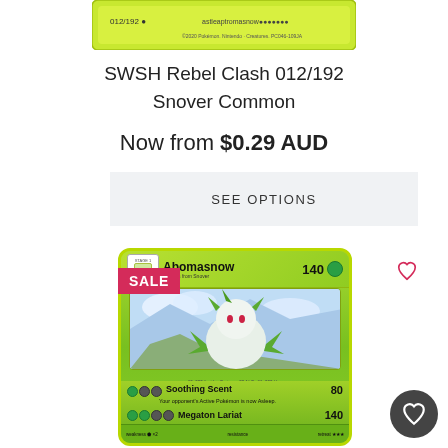[Figure (photo): Snover Pokemon card thumbnail at top of page, SWSH Rebel Clash 012/192, shown as a small cropped card image with yellow/green border]
SWSH Rebel Clash 012/192 Snover Common
Now from $0.29 AUD
SEE OPTIONS
[Figure (photo): Abomasnow Pokemon card from SWSH Rebel Clash. Stage 1, evolves from Snover, 140 HP Grass type. Attacks: Soothing Scent (80 damage) - Your opponent's Active Pokemon is now Asleep. Megaton Lariat (140 damage). Card has yellow-green border with illustration of Abomasnow in snowy mountain setting.]